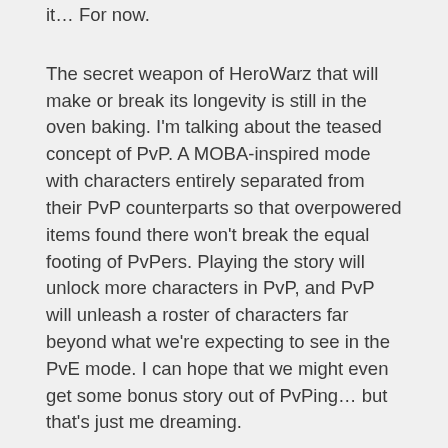it... For now.
The secret weapon of HeroWarz that will make or break its longevity is still in the oven baking. I'm talking about the teased concept of PvP. A MOBA-inspired mode with characters entirely separated from their PvP counterparts so that overpowered items found there won't break the equal footing of PvPers. Playing the story will unlock more characters in PvP, and PvP will unleash a roster of characters far beyond what we're expecting to see in the PvE mode. I can hope that we might even get some bonus story out of PvPing… but that's just me dreaming.